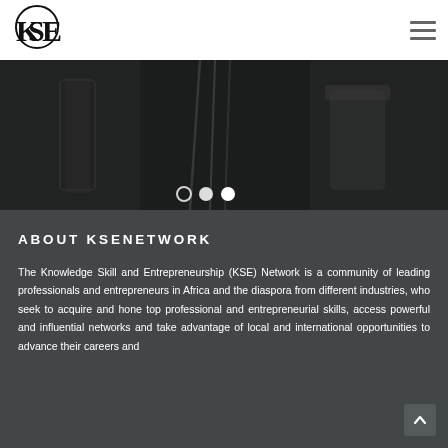KSE Network logo and navigation menu
[Figure (photo): Dark moody photo of glass containers/cups with metal straws or sticks, carousel with three navigation dots (open circle, filled circle, filled circle)]
ABOUT KSENETWORK
The Knowledge Skill and Entrepreneurship (KSE) Network is a community of leading professionals and entrepreneurs in Africa and the diaspora from different industries, who seek to acquire and hone top professional and entrepreneurial skills, access powerful and influential networks and take advantage of local and international opportunities to advance their careers and